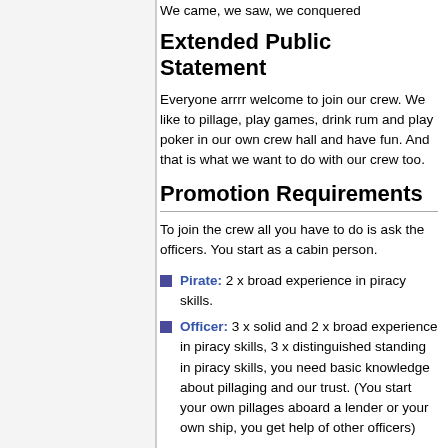We came, we saw, we conquered
Extended Public Statement
Everyone arrrr welcome to join our crew. We like to pillage, play games, drink rum and play poker in our own crew hall and have fun. And that is what we want to do with our crew too.
Promotion Requirements
To join the crew all you have to do is ask the officers. You start as a cabin person.
Pirate: 2 x broad experience in piracy skills.
Officer: 3 x solid and 2 x broad experience in piracy skills, 3 x distinguished standing in piracy skills, you need basic knowledge about pillaging and our trust. (You start your own pillages aboard a lender or your own ship, you get help of other officers)
Fleet officer: You must have been loyal to the crew for a longer period of time, you need our full trust, you must be willing to help with training new officers, you need